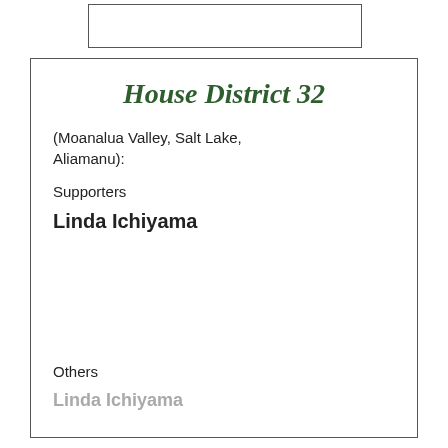House District 32
(Moanalua Valley, Salt Lake, Aliamanu):
Supporters
Linda Ichiyama
Others
Linda Ichiyama